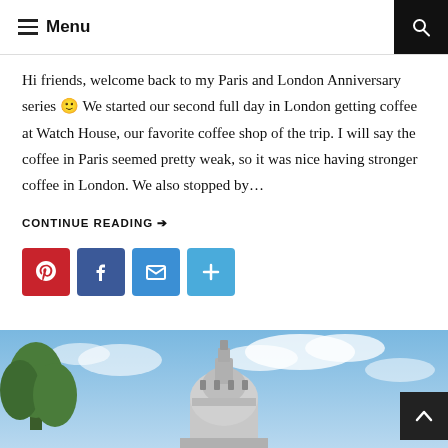≡ Menu
Hi friends, welcome back to my Paris and London Anniversary series 🙂 We started our second full day in London getting coffee at Watch House, our favorite coffee shop of the trip. I will say the coffee in Paris seemed pretty weak, so it was nice having stronger coffee in London. We also stopped by…
CONTINUE READING →
[Figure (infographic): Social share buttons: Pinterest (red), Facebook (blue), Email (blue), More/Plus (light blue)]
[Figure (photo): Photo of St. Paul's Cathedral dome in London against a blue cloudy sky with trees in foreground]